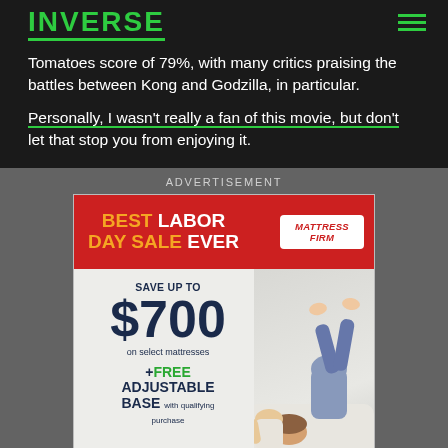INVERSE
Tomatoes score of 79%, with many critics praising the battles between Kong and Godzilla, in particular.
Personally, I wasn't really a fan of this movie, but don't let that stop you from enjoying it.
ADVERTISEMENT
[Figure (infographic): Mattress Firm advertisement. Red banner: BEST LABOR DAY SALE EVER with Mattress Firm logo. Body: SAVE UP TO $700 on select mattresses + FREE ADJUSTABLE BASE with qualifying purchase. Sealy logo and Shop Now button. Photo of couple on bed.]